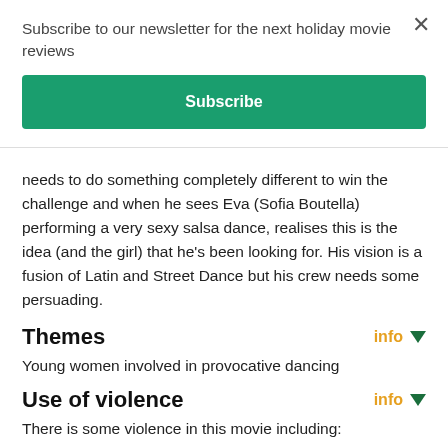Subscribe to our newsletter for the next holiday movie reviews
Subscribe
needs to do something completely different to win the challenge and when he sees Eva (Sofia Boutella) performing a very sexy salsa dance, realises this is the idea (and the girl) that he's been looking for. His vision is a fusion of Latin and Street Dance but his crew needs some persuading.
Themes
Young women involved in provocative dancing
Use of violence
There is some violence in this movie including:
frequent aggression on the dance floor
name calling and jeering
Ava's Uncle Manu threatens to break Ash's legs if he hurts